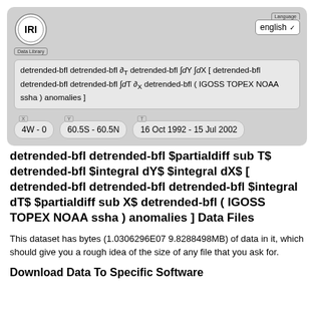[Figure (logo): IRI logo — circular badge with letters IRI]
detrended-bfl detrended-bfl ∂T detrended-bfl ∫dY ∫dX [ detrended-bfl detrended-bfl detrended-bfl ∫dT ∂X detrended-bfl ( IGOSS TOPEX NOAA ssha ) anomalies ]
4W - 0
60.5S - 60.5N
16 Oct 1992 - 15 Jul 2002
detrended-bfl detrended-bfl $partialdiff sub T$ detrended-bfl $integral dY$ $integral dX$ [ detrended-bfl detrended-bfl detrended-bfl $integral dT$ $partialdiff sub X$ detrended-bfl ( IGOSS TOPEX NOAA ssha ) anomalies ] Data Files
This dataset has bytes (1.0306296E07 9.8288498MB) of data in it, which should give you a rough idea of the size of any file that you ask for.
Download Data To Specific Software